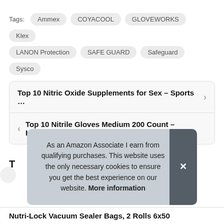Tags: Ammex  COYACOOL  GLOVEWORKS  Klex  LANON Protection  SAFE GUARD  Safeguard  Sysco
Top 10 Nitric Oxide Supplements for Sex – Sports ...
Top 10 Nitrile Gloves Medium 200 Count – House...
As an Amazon Associate I earn from qualifying purchases. This website uses the only necessary cookies to ensure you get the best experience on our website. More information
T
Nutri-Lock Vacuum Sealer Bags, 2 Rolls 6x50